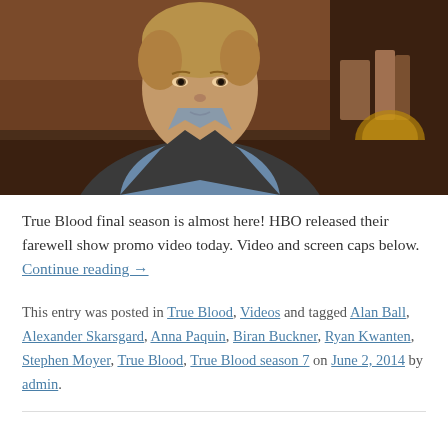[Figure (photo): A man with blond hair wearing a grey blazer over a denim shirt, seated indoors with a dark blurred background. Appears to be a TV/media screenshot.]
True Blood final season is almost here! HBO released their farewell show promo video today. Video and screen caps below. Continue reading →
This entry was posted in True Blood, Videos and tagged Alan Ball, Alexander Skarsgard, Anna Paquin, Biran Buckner, Ryan Kwanten, Stephen Moyer, True Blood, True Blood season 7 on June 2, 2014 by admin.